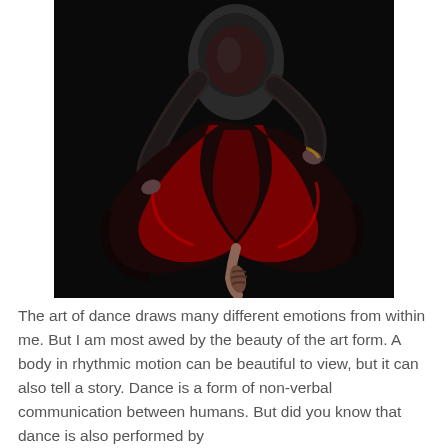[Figure (photo): A dancer in a dark studio wearing a black and red flowing dress, spinning with one leg raised. The background is very dark/black and the dress fans out dramatically showing red and black fabric in motion.]
The art of dance draws many different emotions from within me. But I am most awed by the beauty of the art form. A body in rhythmic motion can be beautiful to view, but it can also tell a story. Dance is a form of non-verbal communication between humans. But did you know that dance is also performed by